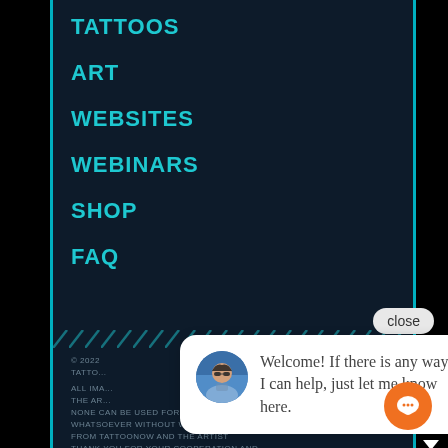TATTOOS
ART
WEBSITES
WEBINARS
SHOP
FAQ
© 2022 TATTOO...
ALL IMA... THE AR... NONE CAN BE USED FOR ANY PURPOSE WHATSOEVER WITHOUT WRITTEN PERMISSION FROM TATTOONOW AND THE ARTIST THANK YOU FOR YOUR COOPERATION AND SUPPORT
[Figure (screenshot): Chat widget with close button, avatar photo, and message: Welcome! If there is any way I can help, just let me know here.]
[Figure (screenshot): Orange circular chat FAB button with speech bubble icon]